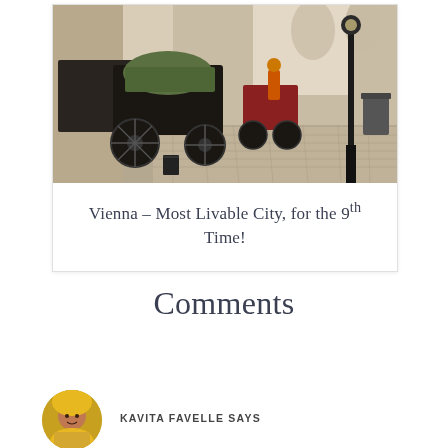[Figure (photo): Photo of horse-drawn carriages (fiakers) parked on a cobblestone street in Vienna, with a classical ornate building and sculpture in the background. Black carriages with a green cover visible, a black lamp post, and a grey trash bin on the right.]
Vienna – Most Livable City, for the 9th Time!
Comments
KAVITA FAVELLE SAYS